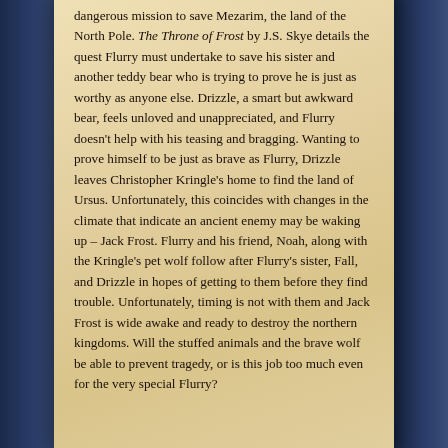dangerous mission to save Mezarim, the land of the North Pole. The Throne of Frost by J.S. Skye details the quest Flurry must undertake to save his sister and another teddy bear who is trying to prove he is just as worthy as anyone else. Drizzle, a smart but awkward bear, feels unloved and unappreciated, and Flurry doesn't help with his teasing and bragging. Wanting to prove himself to be just as brave as Flurry, Drizzle leaves Christopher Kringle's home to find the land of Ursus. Unfortunately, this coincides with changes in the climate that indicate an ancient enemy may be waking up – Jack Frost. Flurry and his friend, Noah, along with the Kringle's pet wolf follow after Flurry's sister, Fall, and Drizzle in hopes of getting to them before they find trouble. Unfortunately, timing is not with them and Jack Frost is wide awake and ready to destroy the northern kingdoms. Will the stuffed animals and the brave wolf be able to prevent tragedy, or is this job too much even for the very special Flurry?